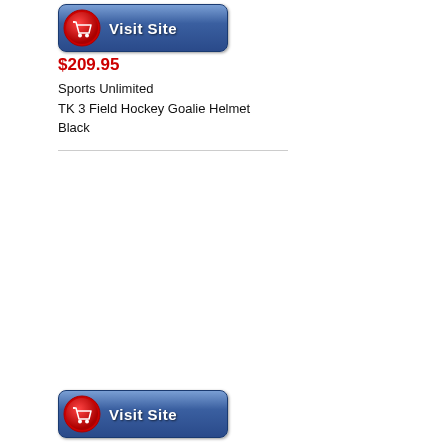[Figure (other): Blue 'Visit Site' button with red shopping cart icon, top of page]
$209.95
Sports Unlimited
TK 3 Field Hockey Goalie Helmet
Black
[Figure (other): Blue 'Visit Site' button with red shopping cart icon, bottom of page]